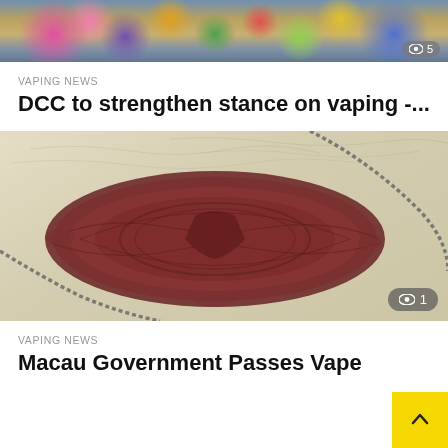[Figure (photo): Top portion of an image showing a person wearing a floral-patterned shirt or dress, colorful flowers visible, with an eye/view counter badge showing 5 in top right]
VAPING NEWS
DCC to strengthen stance on vaping -...
[Figure (photo): Close-up photograph of a red/brown wax seal on aged parchment paper with black and white braided cord/ribbon, official government document seal with a view counter badge showing 1]
VAPING NEWS
Macau Government Passes Vape